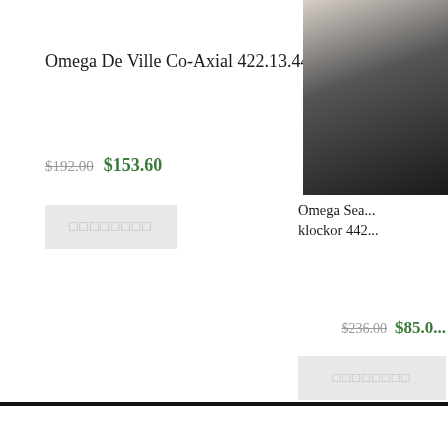Omega De Ville Co-Axial 422.13.44.52.13.001
$192.00 $153.60
□□□□□□□□
[Figure (photo): Partial view of an Omega watch on a dark/light background, right side of page]
Omega Sea... klockor 442...
$236.00 $85.0...
□□□□□□□□